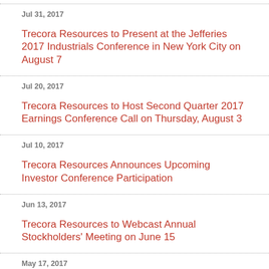Jul 31, 2017
Trecora Resources to Present at the Jefferies 2017 Industrials Conference in New York City on August 7
Jul 20, 2017
Trecora Resources to Host Second Quarter 2017 Earnings Conference Call on Thursday, August 3
Jul 10, 2017
Trecora Resources Announces Upcoming Investor Conference Participation
Jun 13, 2017
Trecora Resources to Webcast Annual Stockholders' Meeting on June 15
May 17, 2017
Trecora Resources to Present at the B. Riley & Co. 18th Annual Investor Conference in Santa Monica